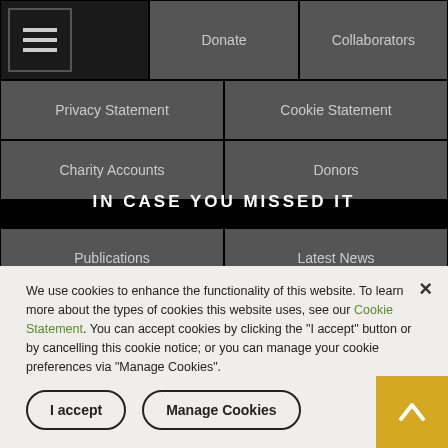[Figure (screenshot): Navigation menu button (hamburger icon) in top-left corner]
| Donate | Collaborators |
| Privacy Statement | Cookie Statement |
| Charity Accounts | Donors |
IN CASE YOU MISSED IT
| Publications | Latest News |
| Our policies | Our achievements |
We use cookies to enhance the functionality of this website. To learn more about the types of cookies this website uses, see our Cookie Statement. You can accept cookies by clicking the "I accept" button or by cancelling this cookie notice; or you can manage your cookie preferences via "Manage Cookies".
I accept
Manage Cookies